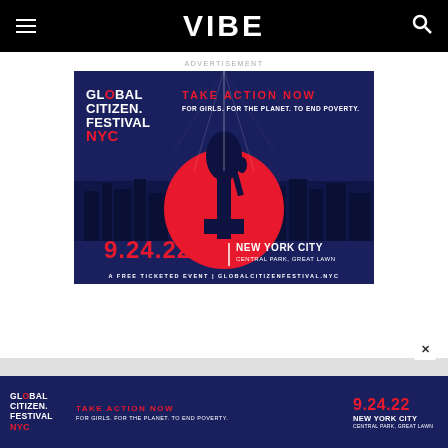VIBE
ADVERTISEMENT
[Figure (infographic): Global Citizen Festival NYC advertisement. Dark blue background with NYC skyline silhouette. Red circle with Statue of Liberty silhouette. Text: GLOBAL CITIZEN. FESTIVAL NYC | TAKE ACTION NOW FOR GIRLS. FOR THE PLANET. TO END POVERTY. | 9.24.22 | NEW YORK CITY CENTRAL PARK, GREAT LAWN | A FREE TICKETED EVENT | GLOBALCITIZENFESTIVAL.NYC]
[Figure (infographic): Global Citizen Festival NYC bottom banner advertisement. Dark blue background. Text: GLOBAL CITIZEN. FESTIVAL NYC | TAKE ACTION NOW FOR GIRLS. FOR THE PLANET. TO END POVERTY. | 9.24.22 | NEW YORK CITY CENTRAL PARK, GREAT LAWN]